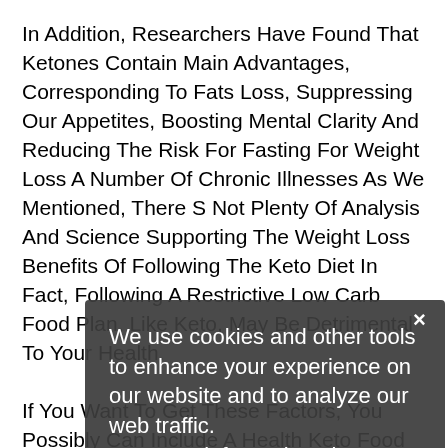In Addition, Researchers Have Found That Ketones Contain Main Advantages, Corresponding To Fats Loss, Suppressing Our Appetites, Boosting Mental Clarity And Reducing The Risk For Fasting For Weight Loss A Number Of Chronic Illnesses As We Mentioned, There S Not Plenty Of Analysis And Science Supporting The Weight Loss Benefits Of Following The Keto Diet In Fact, Following A Restrictive Low Carb Food Plan, Like Keto, May Be Detrimental To Your Health.

If You Want To Get These Factors, You Possibly Can Include A Health Keto Food Plan And Intermittent Fasting They Work So Nicely Collectively And Might Help Your Physique Regenerate New Tissues, Even In Areas Like Your Brain And Nervous Ketogenic Diet Shake Recipe System, Which Were As Soon As Thought Not To Have The Flexibility To Regenerate New Tissue Keto And Intermittent
We use cookies and other tools to enhance your experience on our website and to analyze our web traffic. For more information about these cookies and the data collected, please refer to our Privacy Policy.